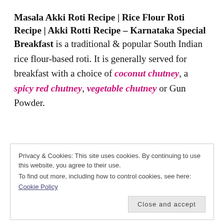Masala Akki Roti Recipe | Rice Flour Roti Recipe | Akki Rotti Recipe – Karnataka Special Breakfast
is a traditional & popular South Indian rice flour-based roti. It is generally served for breakfast with a choice of coconut chutney, a spicy red chutney, vegetable chutney or Gun Powder.
Privacy & Cookies: This site uses cookies. By continuing to use this website, you agree to their use.
To find out more, including how to control cookies, see here:
Cookie Policy